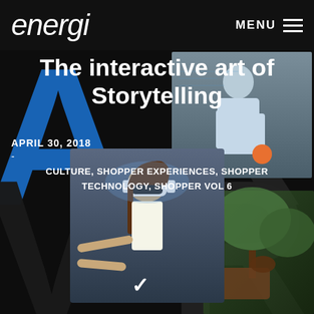energi  MENU
The interactive art of Storytelling
APRIL 30, 2018
-
CULTURE, SHOPPER EXPERIENCES, SHOPPER TECHNOLOGY, SHOPPER VOL 6
[Figure (illustration): Large stylized AR VR letters overlaid with photos of a man using augmented reality and a woman wearing a VR headset. The background is dark/black. Large blue glowing letter A, dark letter R in top half, dark letters V and R in bottom half. A woman in the center-bottom area wears a white VR headset and reaches out with her hands.]